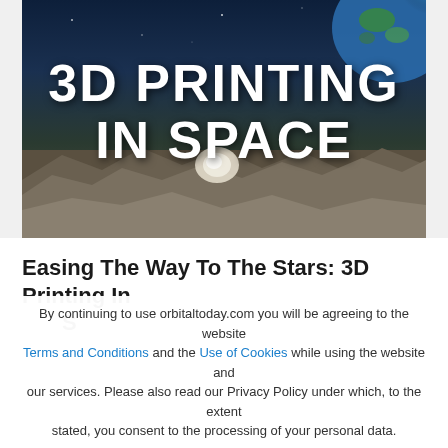[Figure (photo): Space scene with Earth visible in upper right corner and rocky terrain, with bold white text overlay reading '3D PRINTING IN SPACE']
Easing The Way To The Stars: 3D Printing In Space
By continuing to use orbitaltoday.com you will be agreeing to the website Terms and Conditions and the Use of Cookies while using the website and our services. Please also read our Privacy Policy under which, to the extent stated, you consent to the processing of your personal data.
Accept